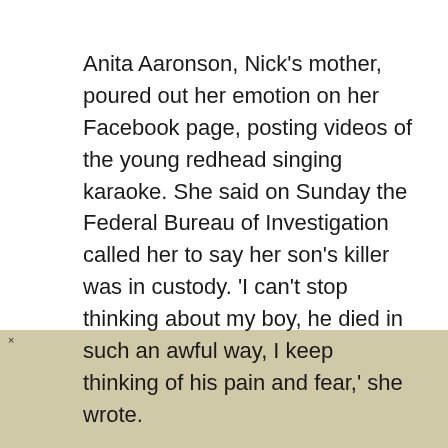Anita Aaronson, Nick's mother, poured out her emotion on her Facebook page, posting videos of the young redhead singing karaoke. She said on Sunday the Federal Bureau of Investigation called her to say her son's killer was in custody. 'I can't stop thinking about my boy, he died in such an awful way, I keep thinking of his pain and fear,' she wrote.

The motive for the murder was